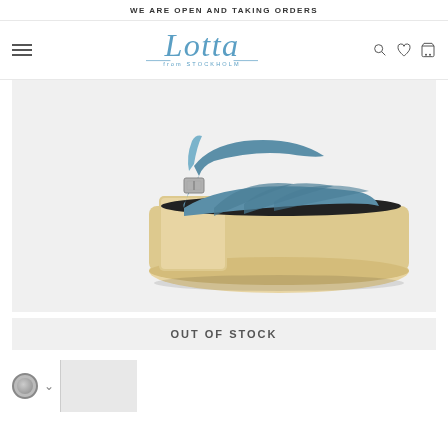WE ARE OPEN AND TAKING ORDERS
[Figure (logo): Lotta from Stockholm brand logo in blue cursive script]
[Figure (photo): Blue leather clog sandal with wooden sole and heel, peep toe, ankle strap with buckle, on white background]
OUT OF STOCK
[Figure (other): Color selector circle (gray) with dropdown arrow and thumbnail image area]